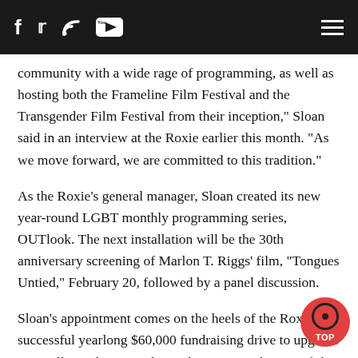[social icons: Facebook, Twitter, RSS, YouTube] [hamburger menu]
community with a wide rage of programming, as well as hosting both the Frameline Film Festival and the Transgender Film Festival from their inception," Sloan said in an interview at the Roxie earlier this month. "As we move forward, we are committed to this tradition."
As the Roxie's general manager, Sloan created its new year-round LGBT monthly programming series, OUTlook. The next installation will be the 30th anniversary screening of Marlon T. Riggs' film, "Tongues Untied," February 20, followed by a panel discussion.
Sloan's appointment comes on the heels of the Roxie's successful yearlong $60,000 fundraising drive to upgrade its smaller auditorium, the Little Roxie, with state-of-the-art cinema improvements, which were unveiled at a January 15 reception for supporters. The project included